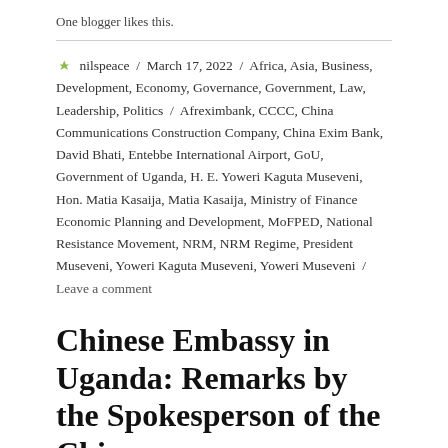One blogger likes this.
nilspeace / March 17, 2022 / Africa, Asia, Business, Development, Economy, Governance, Government, Law, Leadership, Politics / Afreximbank, CCCC, China Communications Construction Company, China Exim Bank, David Bhati, Entebbe International Airport, GoU, Government of Uganda, H. E. Yoweri Kaguta Museveni, Hon. Matia Kasaija, Matia Kasaija, Ministry of Finance Economic Planning and Development, MoFPED, National Resistance Movement, NRM, NRM Regime, President Museveni, Yoweri Kaguta Museveni, Yoweri Museveni / Leave a comment
Chinese Embassy in Uganda: Remarks by the Spokesperson of the Chinese